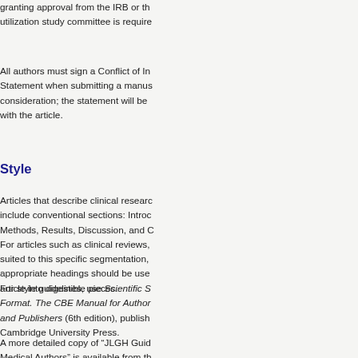granting approval from the IRB or th utilization study committee is require
All authors must sign a Conflict of In Statement when submitting a manus consideration; the statement will be with the article.
Style
Articles that describe clinical researc include conventional sections: Intro Methods, Results, Discussion, and C For articles such as clinical reviews, suited to this specific segmentation, appropriate headings should be use article into digestible pieces.
For style guidelines, use Scientific S Format. The CBE Manual for Author and Publishers (6th edition), publish Cambridge University Press.
A more detailed copy of “JLGH Guid Medical Authors” is available from th Office.